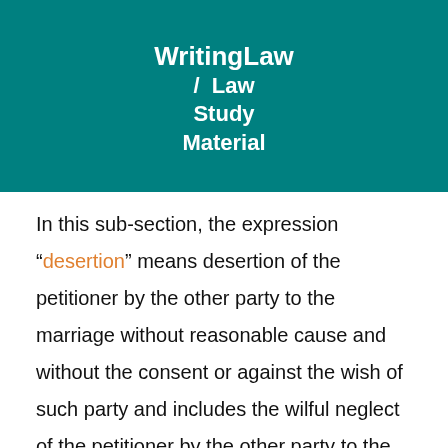WritingLaw / Law Study Material
In this sub-section, the expression “desertion” means desertion of the petitioner by the other party to the marriage without reasonable cause and without the consent or against the wish of such party and includes the wilful neglect of the petitioner by the other party to the marriage, and its grammatical variations and cognate expressions shall be construed accordingly.